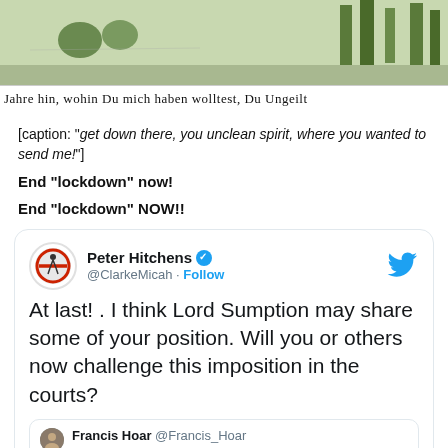[Figure (illustration): Historical illustration with German text caption reading 'Jahre hin, wohin Du mich haben wolltest, Du Ungeilt']
[caption: "get down there, you unclean spirit, where you wanted to send me!"]
End “lockdown” now!
End “lockdown” NOW!!
[Figure (screenshot): Tweet by Peter Hitchens (@ClarkeMicah): 'At last! . I think Lord Sumption may share some of your position. Will you or others now challenge this imposition in the courts?' quoting Francis Hoar @Francis_Hoar: 'I argue, in this post for the UKHR blog, that the']